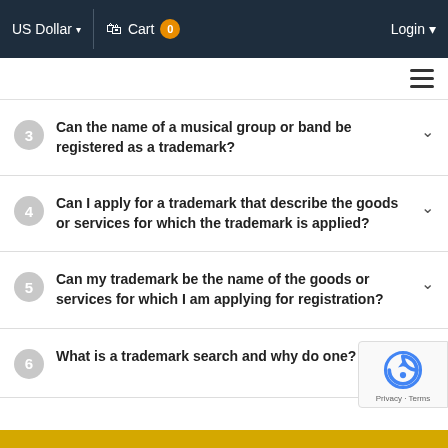US Dollar | Cart 0 | Login
3 Can the name of a musical group or band be registered as a trademark?
4 Can I apply for a trademark that describe the goods or services for which the trademark is applied?
5 Can my trademark be the name of the goods or services for which I am applying for registration?
6 What is a trademark search and why do one?
[Figure (logo): Google reCAPTCHA badge with Privacy and Terms links]